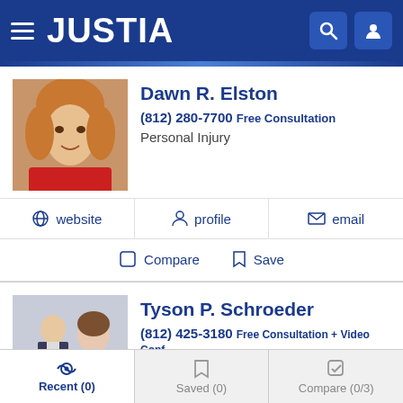JUSTIA
Dawn R. Elston
(812) 280-7700 Free Consultation
Personal Injury
website | profile | email
Compare | Save
Tyson P. Schroeder
(812) 425-3180 Free Consultation + Video Conf
Personal Injury and Workers' Comp
website | profile | email
Recent (0) | Saved (0) | Compare (0/3)